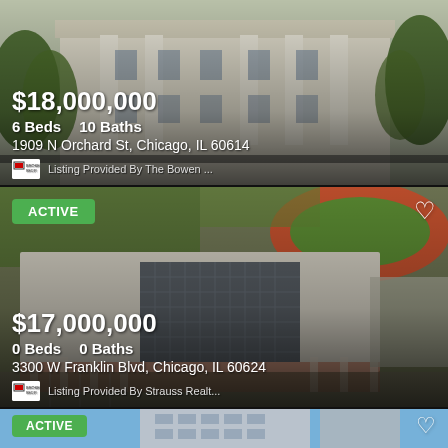[Figure (photo): Exterior photo of a large historic mansion at 1909 N Orchard St, Chicago with white columns and stone facade, lush trees surrounding it. Price overlay: $18,000,000, 6 Beds, 10 Baths. Listing Provided By The Bowen...]
[Figure (photo): Aerial view of a large commercial/school building at 3300 W Franklin Blvd, Chicago with solar panels on roof, red track field visible behind. ACTIVE badge. Price overlay: $17,000,000, 0 Beds, 0 Baths. Listing Provided By Strauss Realt...]
[Figure (photo): Partial view of a high-rise building with ACTIVE badge at bottom of page.]